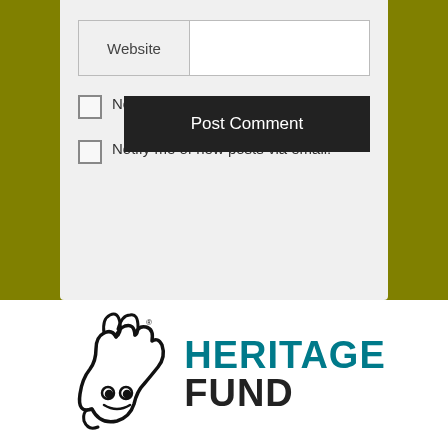[Figure (screenshot): Website comment form section with a Website input field, two checkboxes labelled 'Notify me of new comments via email.' and 'Notify me of new posts via email.', and a 'Post Comment' button on a light grey background.]
Notify me of new comments via email.
Notify me of new posts via email.
[Figure (logo): National Lottery Heritage Fund logo: crossed fingers hand icon in black outline with the text HERITAGE in teal and FUND in black bold uppercase letters.]